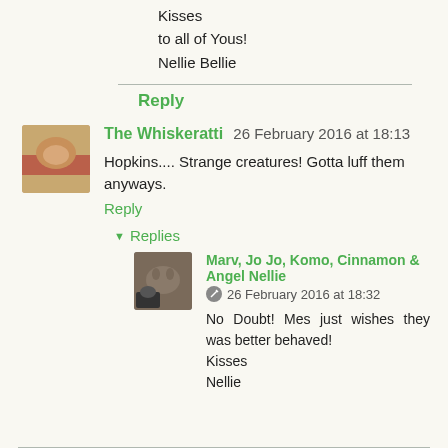Kisses
to all of Yous!
Nellie Bellie
Reply
The Whiskeratti  26 February 2016 at 18:13
Hopkins.... Strange creatures! Gotta luff them anyways.
Reply
Replies
Marv, Jo Jo, Komo, Cinnamon & Angel Nellie  26 February 2016 at 18:32
No Doubt! Mes just wishes they was better behaved!
Kisses
Nellie